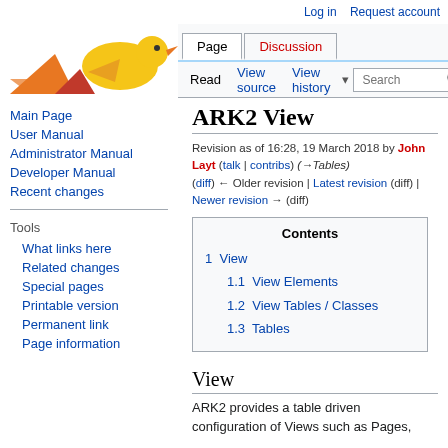Log in  Request account
[Figure (logo): MediaWiki/ARK2 logo with colorful bird/duck shapes in orange, yellow, red]
Page  Discussion
Read  View source  View history  Search
ARK2 View
Revision as of 16:28, 19 March 2018 by John Layt (talk | contribs) (→Tables)
(diff) ← Older revision | Latest revision (diff) | Newer revision → (diff)
1  View
1.1  View Elements
1.2  View Tables / Classes
1.3  Tables
Main Page
User Manual
Administrator Manual
Developer Manual
Recent changes
Tools
What links here
Related changes
Special pages
Printable version
Permanent link
Page information
View
ARK2 provides a table driven configuration of Views such as Pages,